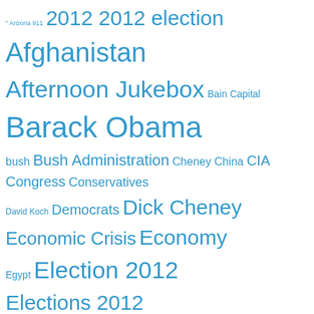[Figure (infographic): Tag cloud of political news topics in blue, with font size indicating frequency. Topics include Arizona 911, 2012 election, Afghanistan, Afternoon Jukebox, Bain Capital, Barack Obama, bush, Bush Administration, Cheney, China, CIA, Congress, Conservatives, David Koch, Democrats, Dick Cheney, Economic Crisis, Economy, Egypt, Election 2012, Elections 2012, Evening Jukebox, Fox News, Gaza, George W. Bush, Glenn Beck, GOP, Guantanamo Bay, Guantánamo, health care, Health Care Reform, Holidays 2008, immigration, Iran, iraq, iraq war, Israel, Justice Department, Karl Rove, Keith Olbermann, Koch brothers, Libya, Mitt Romney, Mitt Romney 2012, Newt Gingrich, Obama, Obama Administration, Pakistan, Politics News, President Barack Obama, President Obama, Rachel Maddow, Racism, Republican Party, Republicans, rupert murdoch, Rush]